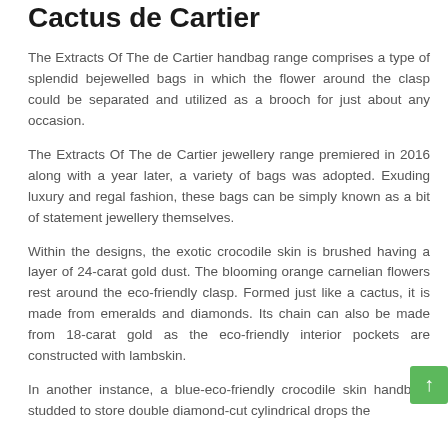Cactus de Cartier
The Extracts Of The de Cartier handbag range comprises a type of splendid bejewelled bags in which the flower around the clasp could be separated and utilized as a brooch for just about any occasion.
The Extracts Of The de Cartier jewellery range premiered in 2016 along with a year later, a variety of bags was adopted. Exuding luxury and regal fashion, these bags can be simply known as a bit of statement jewellery themselves.
Within the designs, the exotic crocodile skin is brushed having a layer of 24-carat gold dust. The blooming orange carnelian flowers rest around the eco-friendly clasp. Formed just like a cactus, it is made from emeralds and diamonds. Its chain can also be made from 18-carat gold as the eco-friendly interior pockets are constructed with lambskin.
In another instance, a blue-eco-friendly crocodile skin handbag, studded to store double diamond-cut cylindrical drops the